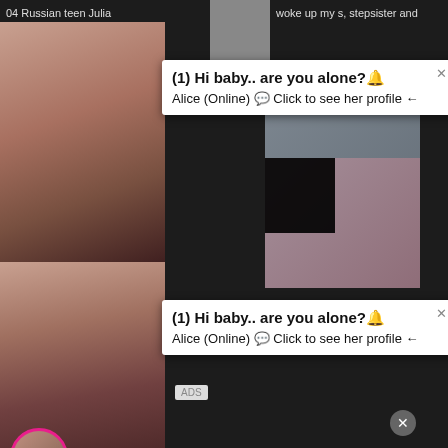04 Russian teen Julia
woke up my s, stepsister and
92% /
[Figure (screenshot): Pornographic website screenshot with popup ads. First popup: '(1) Hi baby.. are you alone? Alice (Online) Click to see her profile'. Second duplicate popup. Live cam notification bar: 'jeniffer 2000 (00:12)'. Bottom ad: 'WHAT DO YOU WANT? WATCH, Online, Cumming, ass fucking, squirt or... ADS']
(1) Hi baby.. are you alone?🔔
Alice (Online) 💬 Click to see her profile ←
(1) Hi baby.. are you alone?🔔
Alice (Online) 💬 Click to see her profile ←
jeniffer 2000
(00:12)🔔
ADS
LIVE
XKOI
allow
91% /
1:8:00
WHAT DO YOU WANT?
WATCH
● Online
Cumming, ass fucking, squirt or...
• ADS
Schoolgirl Teen Japanese
BANGBROS - Shy Japanese